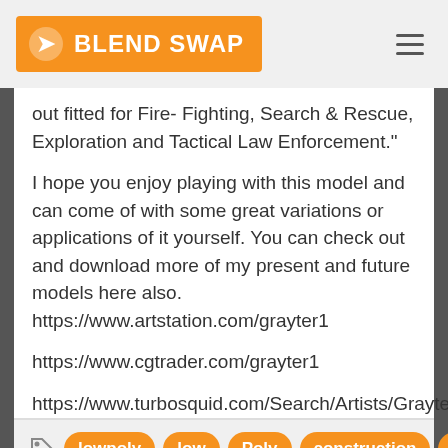BLEND SWAP
out fitted for Fire- Fighting, Search & Rescue, Exploration and Tactical Law Enforcement."
I hope you enjoy playing with this model and can come of with some great variations or applications of it yourself. You can check out and download more of my present and future models here also. https://www.artstation.com/grayter1

https://www.cgtrader.com/grayter1

https://www.turbosquid.com/Search/Artists/Grayter1
lowpoly
low
Poly
construction
mech
mecha
giant
Robot
character
fantasy
machine
pilot
cockpit
crane
bulldozer